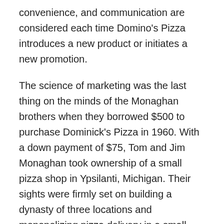convenience, and communication are considered each time Domino's Pizza introduces a new product or initiates a new promotion.
The science of marketing was the last thing on the minds of the Monaghan brothers when they borrowed $500 to purchase Dominick's Pizza in 1960. With a down payment of $75, Tom and Jim Monaghan took ownership of a small pizza shop in Ypsilanti, Michigan. Their sights were firmly set on building a dynasty of three locations and monopolizing pizza delivery in a small concentrated area. From inception, the Domino's logo contained three dots. These dots, still present on the current logo, represent Tom Monaghan's original vision of opening three locations and develop a triangulation delivery strategy (Miranda, 2009).